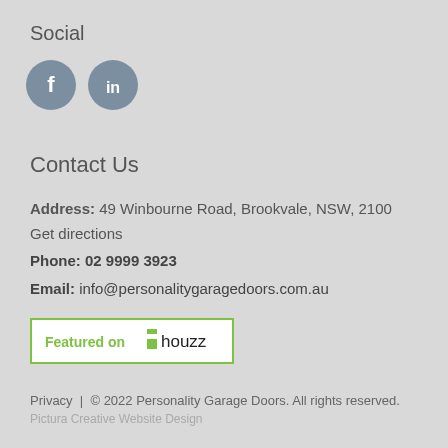Social
[Figure (illustration): Two circular social media icons: Facebook (f) and LinkedIn (in), both in medium grey/blue-grey color on a light grey background.]
Contact Us
Address: 49 Winbourne Road, Brookvale, NSW, 2100
Get directions
Phone: 02 9999 3923
Email: info@personalitygaragedoors.com.au
[Figure (logo): Featured on Houzz badge: white rectangle with green border, green bold text 'Featured on' followed by a green Houzz logo icon and black text 'houzz'.]
Privacy  |  © 2022 Personality Garage Doors. All rights reserved.
Pictura Creative Website Design